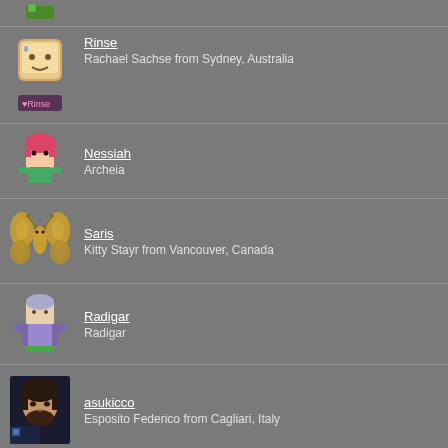(avatar icon top)
Rinse
Rachael Sachse from Sydney, Australia
Nessiah
Archeia
Saris
Kitty Stayr from Vancouver, Canada
Radigar
Radigar
asukicco
Esposito Federico from Cagliari, Italy
joseph_ch
Joseph Chessey from Pollock Pines, CA, United States
lifern
Semyon Voinov from Moscow, Russia
SUPAFLOW